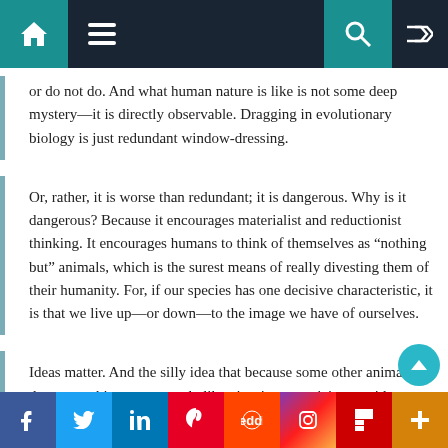Navigation bar with home, menu, search, shuffle icons
or do not do. And what human nature is like is not some deep mystery—it is directly observable. Dragging in evolutionary biology is just redundant window-dressing.
Or, rather, it is worse than redundant; it is dangerous. Why is it dangerous? Because it encourages materialist and reductionist thinking. It encourages humans to think of themselves as “nothing but” animals, which is the surest means of really divesting them of their humanity. For, if our species has one decisive characteristic, it is that we live up—or down—to the image we have of ourselves.
Ideas matter. And the silly idea that because some other animal does something, we must do likewise, is as pernicious an idea as there is in our culture today.
Social share bar: Facebook, Twitter, LinkedIn, Pinterest, Reddit, Instagram, Flipboard, More